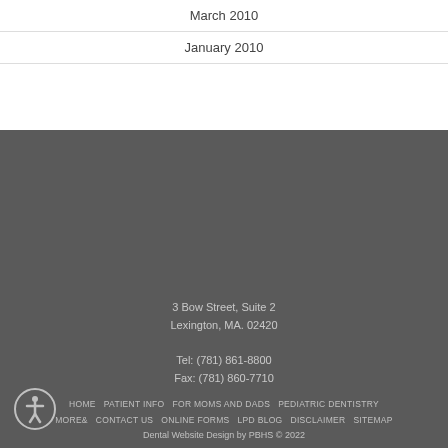March 2010
January 2010
3 Bow Street, Suite 2
Lexington, MA. 02420

Tel: (781) 861-8800
Fax: (781) 860-7710
HOME   PATIENT INFO   FOR MOMS AND DADS   PEDIATRIC DENTISTRY   MORE&   CONTACT US   ONLINE FORMS   LPD BLOG   DISCLAIMER   SITEMAP
Dental Website Design by PBHS © 2022